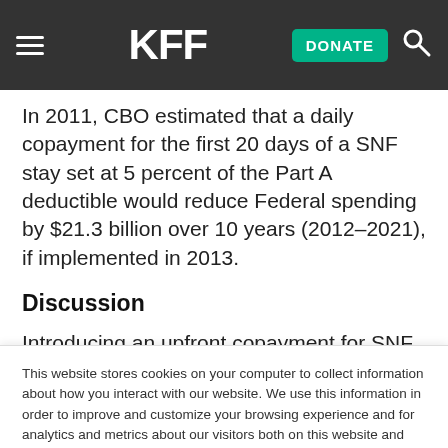KFF | DONATE
In 2011, CBO estimated that a daily copayment for the first 20 days of a SNF stay set at 5 percent of the Part A deductible would reduce Federal spending by $21.3 billion over 10 years (2012–2021), if implemented in 2013.
Discussion
Introducing an upfront copayment for SNF care
This website stores cookies on your computer to collect information about how you interact with our website. We use this information in order to improve and customize your browsing experience and for analytics and metrics about our visitors both on this website and other media. To find out more about the cookies we use, see our Privacy Policy.